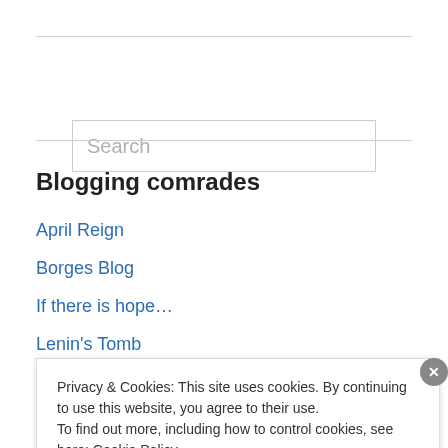[Figure (other): Search input box with placeholder text 'Search']
Blogging comrades
April Reign
Borges Blog
If there is hope…
Lenin's Tomb
Louis Proyect: The Unrepentant Marxist
Privacy & Cookies: This site uses cookies. By continuing to use this website, you agree to their use.
To find out more, including how to control cookies, see here: Cookie Policy
Close and accept